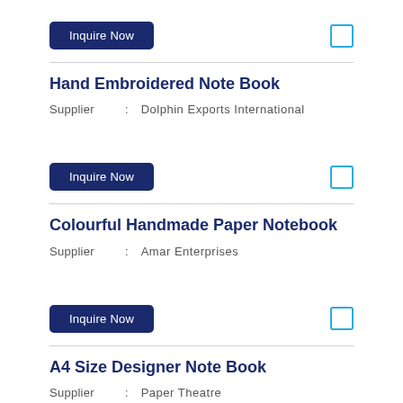Inquire Now [button] [checkbox]
Hand Embroidered Note Book
Supplier : Dolphin Exports International
Inquire Now [button] [checkbox]
Colourful Handmade Paper Notebook
Supplier : Amar Enterprises
Inquire Now [button] [checkbox]
A4 Size Designer Note Book
Supplier : Paper Theatre